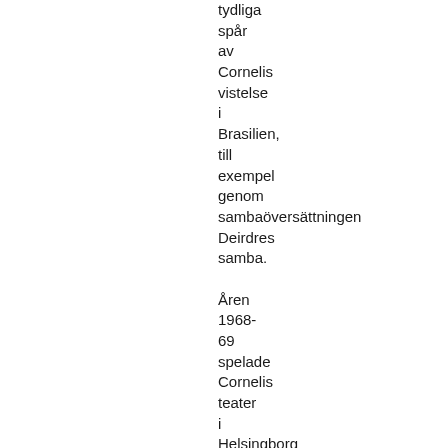tydliga spår av Cornelis vistelse i Brasilien, till exempel genom sambaöversättningen Deirdres samba.

Åren 1968-69 spelade Cornelis teater i Helsingborg och Malmö. Han turnerade även med Östen Warnerbring.